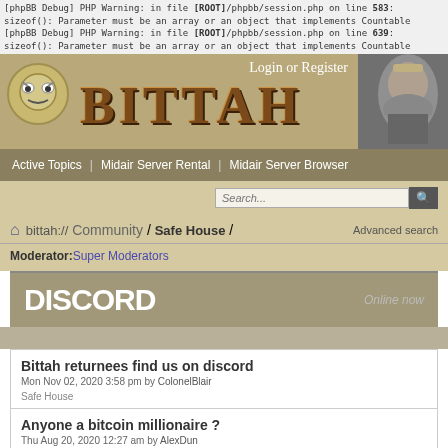[phpBB Debug] PHP Warning: in file [ROOT]/phpbb/session.php on line 583: sizeof(): Parameter must be an array or an object that implements Countable
[phpBB Debug] PHP Warning: in file [ROOT]/phpbb/session.php on line 639: sizeof(): Parameter must be an array or an object that implements Countable
[Figure (screenshot): Bittah community forum header with logo and Login/Register links]
Active Topics | Midair Server Rental | Midair Server Browser
Search...
bittah:// Community / Safe House /   Advanced search
Moderator: Super Moderators
[Figure (screenshot): Discord banner with Online now text]
Bittah returnees find us on discord
Mon Nov 02, 2020 3:58 pm by ColonelBlair
Safe House
Anyone a bitcoin millionaire ?
Thu Aug 20, 2020 12:27 am by AlexDun
Safe House